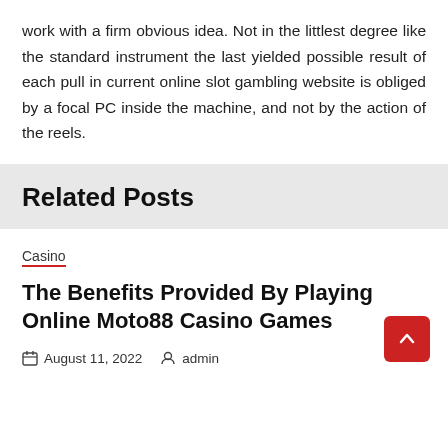work with a firm obvious idea. Not in the littlest degree like the standard instrument the last yielded possible result of each pull in current online slot gambling website is obliged by a focal PC inside the machine, and not by the action of the reels.
Related Posts
Casino
The Benefits Provided By Playing Online Moto88 Casino Games
August 11, 2022  admin